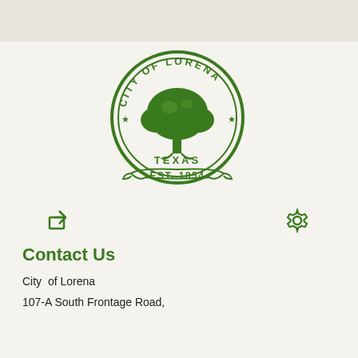[Figure (logo): City of Lorena Texas seal - circular green stamp logo with tree in center, stars, and banner reading EST. 1854]
[Figure (other): Share icon (green arrow pointing out of a box) and settings/gear icon (green cogwheel)]
Contact Us
City  of Lorena
107-A South Frontage Road,